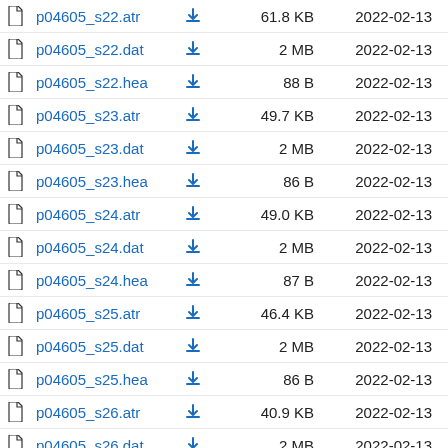| Name |  | Size | Date |
| --- | --- | --- | --- |
| p04605_s22.atr | ↓ | 61.8 KB | 2022-02-13 |
| p04605_s22.dat | ↓ | 2 MB | 2022-02-13 |
| p04605_s22.hea | ↓ | 88 B | 2022-02-13 |
| p04605_s23.atr | ↓ | 49.7 KB | 2022-02-13 |
| p04605_s23.dat | ↓ | 2 MB | 2022-02-13 |
| p04605_s23.hea | ↓ | 86 B | 2022-02-13 |
| p04605_s24.atr | ↓ | 49.0 KB | 2022-02-13 |
| p04605_s24.dat | ↓ | 2 MB | 2022-02-13 |
| p04605_s24.hea | ↓ | 87 B | 2022-02-13 |
| p04605_s25.atr | ↓ | 46.4 KB | 2022-02-13 |
| p04605_s25.dat | ↓ | 2 MB | 2022-02-13 |
| p04605_s25.hea | ↓ | 86 B | 2022-02-13 |
| p04605_s26.atr | ↓ | 40.9 KB | 2022-02-13 |
| p04605_s26.dat | ↓ | 2 MB | 2022-02-13 |